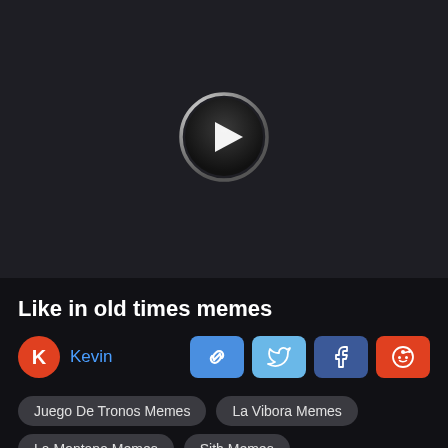[Figure (screenshot): Dark video player area with a circular play button in the center. The play button has a white ring border with a gradient, and a dark background with a white triangle play icon inside.]
Like in old times memes
K Kevin
Share buttons: link, Twitter, Facebook, Reddit
Juego De Tronos Memes
La Vibora Memes
La Montana Memes
Sith Memes